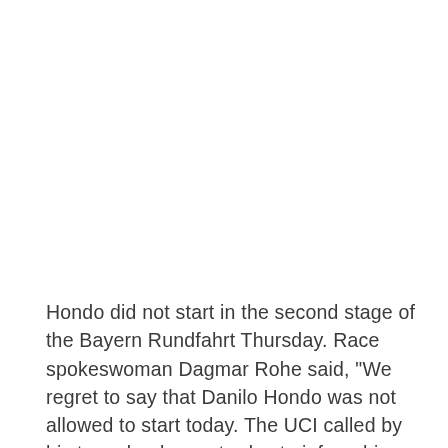Hondo did not start in the second stage of the Bayern Rundfahrt Thursday. Race spokeswoman Dagmar Rohe said, "We regret to say that Danilo Hondo was not allowed to start today. The UCI called by his team leader yesterday to inform him that, due to the